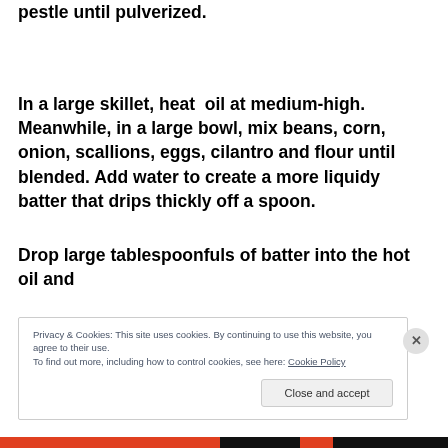pestle until pulverized.
In a large skillet, heat  oil at medium-high. Meanwhile, in a large bowl, mix beans, corn, onion, scallions, eggs, cilantro and flour until blended. Add water to create a more liquidy batter that drips thickly off a spoon.
Drop large tablespoonfuls of batter into the hot oil and
Privacy & Cookies: This site uses cookies. By continuing to use this website, you agree to their use.
To find out more, including how to control cookies, see here: Cookie Policy